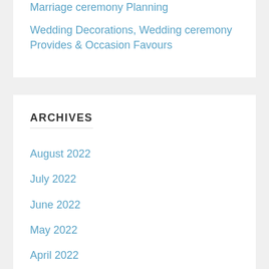Marriage ceremony Planning
Wedding Decorations, Wedding ceremony Provides & Occasion Favours
ARCHIVES
August 2022
July 2022
June 2022
May 2022
April 2022
March 2022